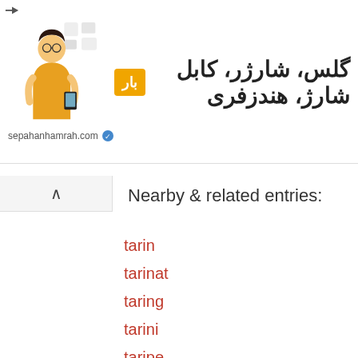[Figure (other): Advertisement banner for sepahanhamrah.com showing text in Persian (گلس، شارژر، کابل شارژ، هندزفری) with a person holding a phone and accessories icons, with URL sepahanhamrah.com]
Nearby & related entries:
tarin
tarinat
taring
tarini
taripe
tariq nasheed
tariqa
tariquidar
taris biomedical
tarish